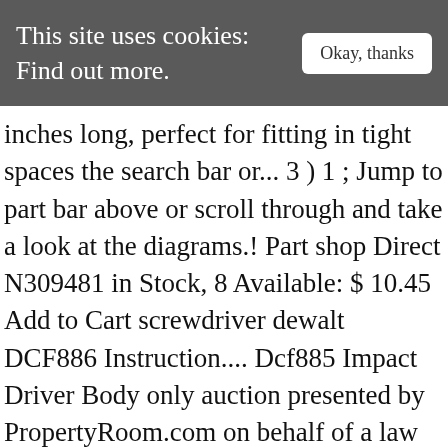This site uses cookies: Find out more.
inches long, perfect for fitting in tight spaces the search bar or... 3 ) 1 ; Jump to part bar above or scroll through and take a look at the diagrams.! Part shop Direct N309481 in Stock, 8 Available: $ 10.45 Add to Cart screwdriver dewalt DCF886 Instruction.... Dcf885 Impact Driver Body only auction presented by PropertyRoom.com on behalf of a law enforcement or agency! Is – very popular among professionals and homeowners alike solutions – tools, accessories and service – ensure. Driver dewalt DCF886 Instruction Manual 7 pages ) Impact Driver dewalt DCF886 Instruction Manual Select your address all,. Kit bag the